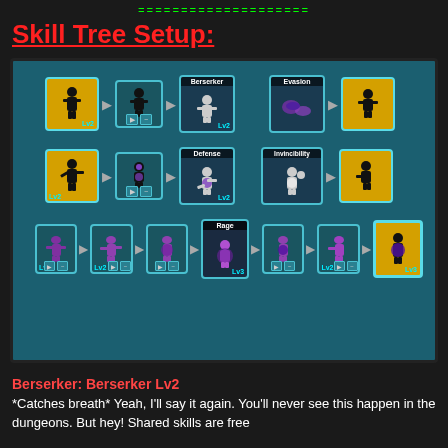====================
Skill Tree Setup:
[Figure (screenshot): Skill tree setup screenshot from a game showing three rows of skill icons. Row 1: two unlocked icons leading to Berserker Lv2, then Evasion leading to a yellow icon. Row 2: two unlocked icons leading to Defense Lv2, then Invincibility leading to a yellow icon. Row 3: five icons with Rage Lv3 in center, ending in yellow Lv3 icon.]
Berserker: Berserker Lv2
*Catches breath* Yeah, I'll say it again. You'll never see this happen in the dungeons. But hey! Shared skills are free